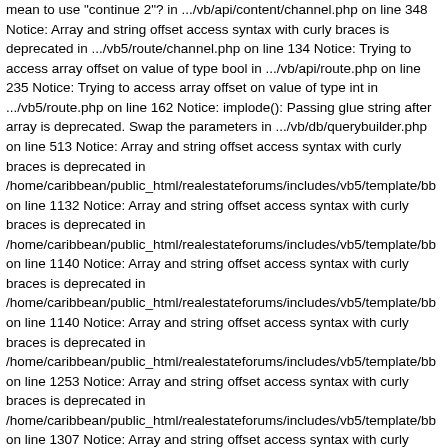mean to use "continue 2"? in .../vb/api/content/channel.php on line 348 Notice: Array and string offset access syntax with curly braces is deprecated in .../vb5/route/channel.php on line 134 Notice: Trying to access array offset on value of type bool in .../vb/api/route.php on line 235 Notice: Trying to access array offset on value of type int in .../vb5/route.php on line 162 Notice: implode(): Passing glue string after array is deprecated. Swap the parameters in .../vb/db/querybuilder.php on line 513 Notice: Array and string offset access syntax with curly braces is deprecated in /home/caribbean/public_html/realestateforums/includes/vb5/template/bb on line 1132 Notice: Array and string offset access syntax with curly braces is deprecated in /home/caribbean/public_html/realestateforums/includes/vb5/template/bb on line 1140 Notice: Array and string offset access syntax with curly braces is deprecated in /home/caribbean/public_html/realestateforums/includes/vb5/template/bb on line 1140 Notice: Array and string offset access syntax with curly braces is deprecated in /home/caribbean/public_html/realestateforums/includes/vb5/template/bb on line 1253 Notice: Array and string offset access syntax with curly braces is deprecated in /home/caribbean/public_html/realestateforums/includes/vb5/template/bb on line 1307 Notice: Array and string offset access syntax with curly braces is deprecated in /home/caribbean/public_html/realestateforums/includes/vb5/template/bb